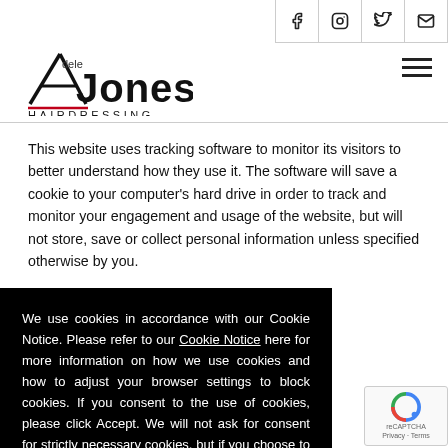Social icons: Facebook, Instagram, Twitter, Email
[Figure (logo): Adele Jones Hairdressing logo with stylized A and red underline]
This website uses tracking software to monitor its visitors to better understand how they use it. The software will save a cookie to your computer's hard drive in order to track and monitor your engagement and usage of the website, but will not store, save or collect personal information unless specified otherwise by you.
We use cookies in accordance with our Cookie Notice. Please refer to our Cookie Notice here for more information on how we use cookies and how to adjust your browser settings to block cookies. If you consent to the use of cookies, please click Accept. We will not ask for consent for strictly necessary cookies, but if you choose to block strictly necessary cookies this may affect your website experience.
...and adverts. These ...ising partners, to ...ating directly to the...